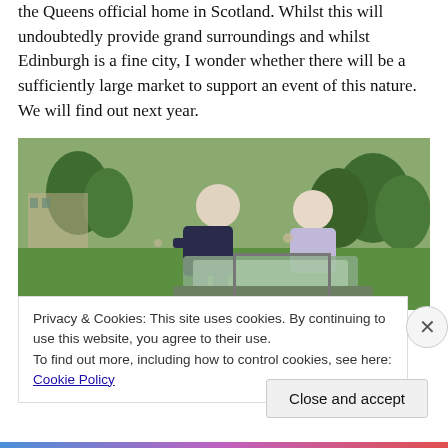the Queens official home in Scotland. Whilst this will undoubtedly provide grand surroundings and whilst Edinburgh is a fine city, I wonder whether there will be a sufficiently large market to support an event of this nature. We will find out next year.
[Figure (photo): Two men leaning over a vintage open-top car on a green lawn with manicured hedges and a large building in the background.]
Privacy & Cookies: This site uses cookies. By continuing to use this website, you agree to their use.
To find out more, including how to control cookies, see here: Cookie Policy
Close and accept